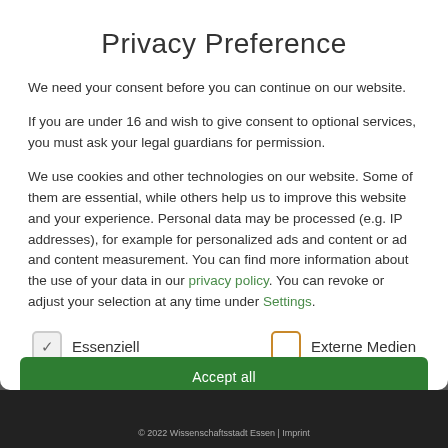Privacy Preference
We need your consent before you can continue on our website.
If you are under 16 and wish to give consent to optional services, you must ask your legal guardians for permission.
We use cookies and other technologies on our website. Some of them are essential, while others help us to improve this website and your experience. Personal data may be processed (e.g. IP addresses), for example for personalized ads and content or ad and content measurement. You can find more information about the use of your data in our privacy policy. You can revoke or adjust your selection at any time under Settings.
Essenziell (checked)
Externe Medien (unchecked)
© 2022 Wissenschaftsstadt Essen | Imprint